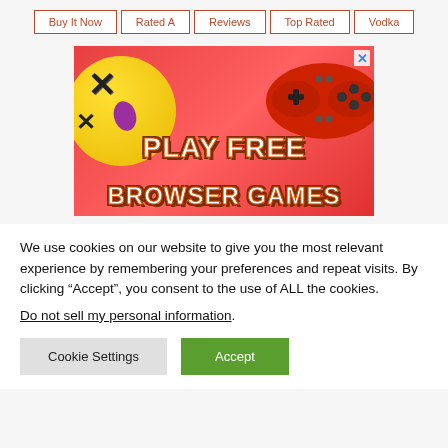Buy It Now | Rated A | Reviews | Top Rated | Vodka
[Figure (screenshot): Colorful advertisement banner showing a yellow cartoon face with X eyes, a red game controller, text 'PLAY FREE BROWSER GAMES' on a red background, with a close (X) button in the top right corner.]
We use cookies on our website to give you the most relevant experience by remembering your preferences and repeat visits. By clicking “Accept”, you consent to the use of ALL the cookies.
Do not sell my personal information.
Cookie Settings   Accept